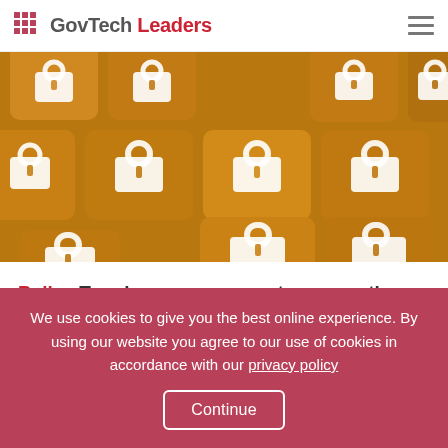GovTech Leaders
[Figure (photo): Close-up of orange keyboard keys each showing a white padlock icon, representing online security and cybersecurity.]
Policy Tough new measures to ensure the UK's online safety
3y  |  Jay Ashar
We use cookies to give you the best online experience. By using our website you agree to our use of cookies in accordance with our privacy policy